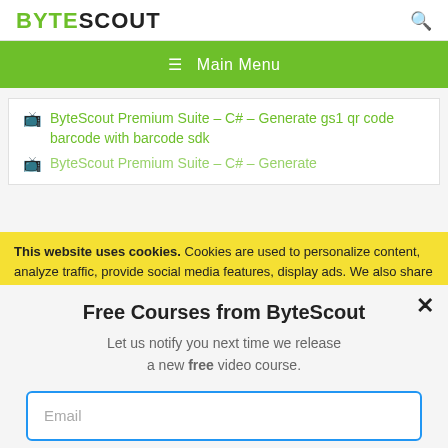BYTESCOUT
≡  Main Menu
ByteScout Premium Suite – C# – Generate gs1 qr code barcode with barcode sdk
ByteScout Premium Suite – C# – Generate
This website uses cookies. Cookies are used to personalize content, analyze traffic, provide social media features, display ads. We also share
Free Courses from ByteScout
Let us notify you next time we release a new free video course.
Email
SUBSCRIBE